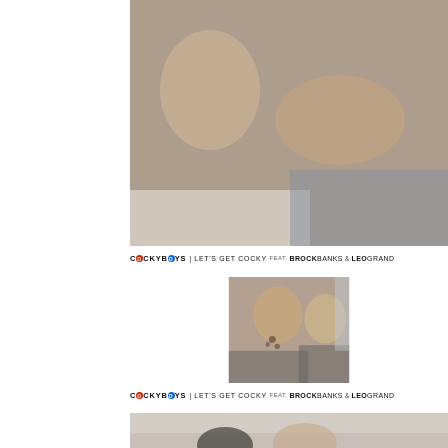[Figure (photo): Adult content photograph - two male figures on a bed with white bedding and blue patterned blanket]
COCKYBOYS | LET'S GET COCKY FEAT. BROCKBANKS & LEOGRAND
[Figure (photo): Adult content photograph - two male figures, one tattooed, on a gray sofa/ottoman]
COCKYBOYS | LET'S GET COCKY FEAT. BROCKBANKS & LEOGRAND
[Figure (photo): Adult content photograph - partial view, two male figures, one with dark hair visible from shoulders up]